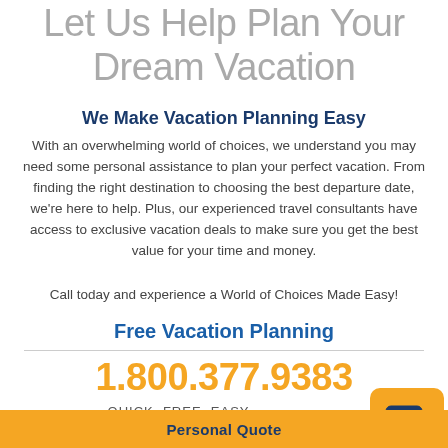Let Us Help Plan Your Dream Vacation
We Make Vacation Planning Easy
With an overwhelming world of choices, we understand you may need some personal assistance to plan your perfect vacation. From finding the right destination to choosing the best departure date, we're here to help. Plus, our experienced travel consultants have access to exclusive vacation deals to make sure you get the best value for your time and money.
Call today and experience a World of Choices Made Easy!
Free Vacation Planning
1.800.377.9383
QUICK. FREE. EASY.
Personal Quote